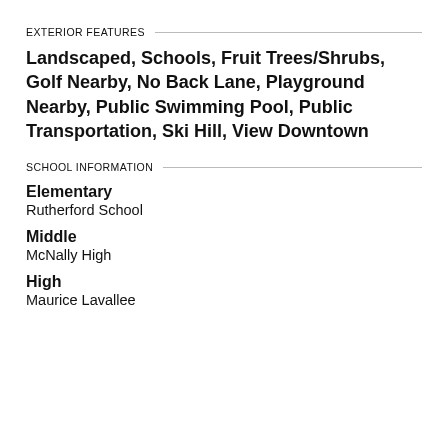EXTERIOR FEATURES
Landscaped, Schools, Fruit Trees/Shrubs, Golf Nearby, No Back Lane, Playground Nearby, Public Swimming Pool, Public Transportation, Ski Hill, View Downtown
SCHOOL INFORMATION
Elementary
Rutherford School
Middle
McNally High
High
Maurice Lavallee